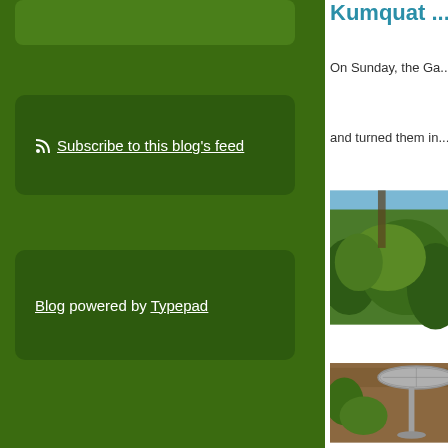Subscribe to this blog's feed
Blog powered by Typepad
Kumquat ...
On Sunday, the Ga...
and turned them in...
[Figure (photo): Garden photo showing green shrubs and trees with a metal birdbath or table in the foreground, blue sky visible in background]